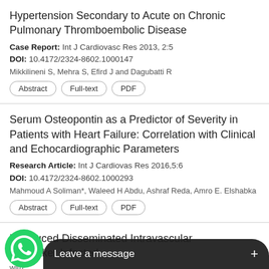Hypertension Secondary to Acute on Chronic Pulmonary Thromboembolic Disease
Case Report: Int J Cardiovasc Res 2013, 2:5
DOI: 10.4172/2324-8602.1000147
Mikkilineni S, Mehra S, Efird J and Dagubatti R
Serum Osteopontin as a Predictor of Severity in Patients with Heart Failure: Correlation with Clinical and Echocardiographic Parameters
Research Article: Int J Cardiovas Res 2016,5:6
DOI: 10.4172/2324-8602.1000293
Mahmoud A Soliman*, Waleed H Abdu, Ashraf Reda, Amro E. Elshabka
is-induced Disseminated Intravascular ... acemaker Infected with...
[Figure (screenshot): WhatsApp chat widget overlay at the bottom of the screen showing green WhatsApp icon and a dark 'Leave a message' bar with a plus button]